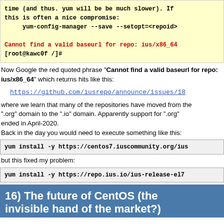time (and thus. yum will be be much slower). If this is often a nice compromise:
    yum-config-manager --save --setopt=<repoid>
Cannot find a valid baseurl for repo: ius/x86_64
[root@kawc0f /]#
Now Google the red quoted phrase "Cannot find a valid baseurl for repo: ius/x86_64" which returns hits like this:
https://github.com/iusrepo/announce/issues/18
where we learn that many of the repositories have moved from the ".org" domain to the ".io" domain. Apparently support for ".org" ended in April-2020.
Back in the day you would need to execute something like this:
yum install -y https://centos7.iuscommunity.org/ius
but this fixed my problem:
yum install -y https://repo.ius.io/ius-release-el7
16) The future of CentOS (the invisible hand of the market?)